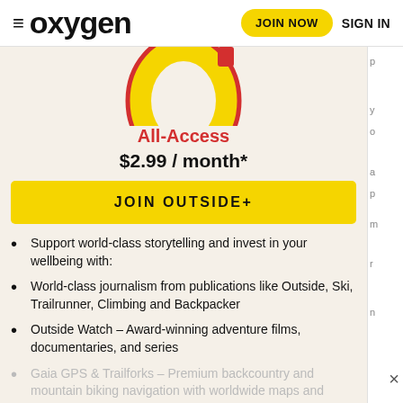oxygen | JOIN NOW | SIGN IN
[Figure (illustration): Large stylized '0' numeral in yellow with red outline, partially visible, representing a price or logo graphic]
All-Access
$2.99 / month*
JOIN OUTSIDE+
Support world-class storytelling and invest in your wellbeing with:
World-class journalism from publications like Outside, Ski, Trailrunner, Climbing and Backpacker
Outside Watch – Award-winning adventure films, documentaries, and series
Gaia GPS & Trailforks – Premium backcountry and mountain biking navigation with worldwide maps and